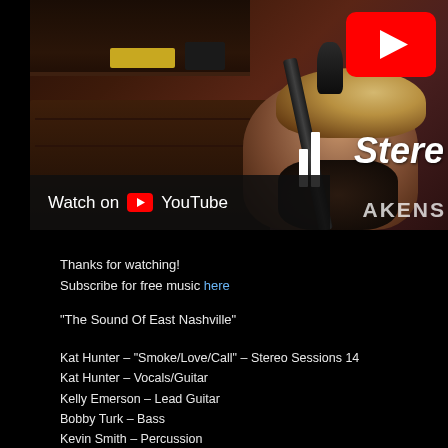[Figure (screenshot): YouTube video thumbnail showing a woman with blonde hair playing guitar in a dimly lit room with studio microphone. YouTube logo in top right corner. 'Watch on YouTube' overlay bar at bottom left.]
Thanks for watching!
Subscribe for free music here

"The Sound Of East Nashville"

Kat Hunter – "Smoke/Love/Call" – Stereo Sessions 14
Kat Hunter – Vocals/Guitar
Kelly Emerson – Lead Guitar
Bobby Turk – Bass
Kevin Smith – Percussion